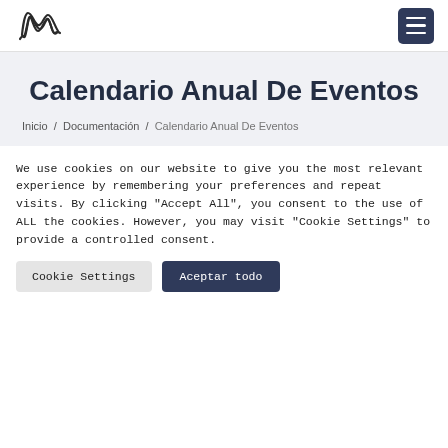[Figure (logo): Stylized letter N logo in outline style]
[Figure (other): Hamburger menu button, dark navy background with three horizontal white lines]
Calendario Anual De Eventos
Inicio / Documentación / Calendario Anual De Eventos
We use cookies on our website to give you the most relevant experience by remembering your preferences and repeat visits. By clicking "Accept All", you consent to the use of ALL the cookies. However, you may visit "Cookie Settings" to provide a controlled consent.
Cookie Settings
Aceptar todo